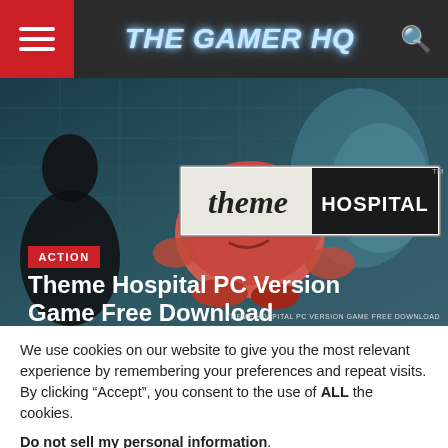THE GAMER HQ
[Figure (screenshot): Hero image showing Theme Hospital game artwork with cartoon characters and the Theme Hospital logo overlay, with ACTION badge and title 'Theme Hospital PC Version Game Free Download']
THEME HOSPITAL PC VERSION GAME FREE DOWNLOAD
We use cookies on our website to give you the most relevant experience by remembering your preferences and repeat visits. By clicking “Accept”, you consent to the use of ALL the cookies.
Do not sell my personal information.